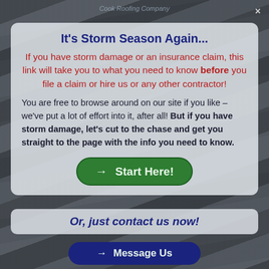It's Storm Season Again...
If you have storm damage or an insurance claim, this link will take you to what you need to know before you file a claim or hire us or any other contractor!
You are free to browse around on our site if you like – we've put a lot of effort into it, after all! But if you have storm damage, let's cut to the chase and get you straight to the page with the info you need to know.
[Figure (other): Green rounded button with arrow and text 'Start Here!']
Or, just contact us now!
[Figure (other): Dark blue rounded button with arrow and text 'Message Us']